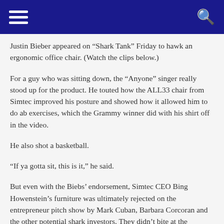Navigation header with hamburger menu and search icon
Justin Bieber appeared on “Shark Tank” Friday to hawk an ergonomic office chair. (Watch the clips below.)
For a guy who was sitting down, the “Anyone” singer really stood up for the product. He touted how the ALL33 chair from Simtec improved his posture and showed how it allowed him to do ab exercises, which the Grammy winner did with his shirt off in the video.
He also shot a basketball.
“If ya gotta sit, this is it,” he said.
But even with the Biebs’ endorsement, Simtec CEO Bing Howenstein’s furniture was ultimately rejected on the entrepreneur pitch show by Mark Cuban, Barbara Corcoran and the other potential shark investors. They didn’t bite at the businessman’s request for $500,000 in exchange for 2.5% of his company,